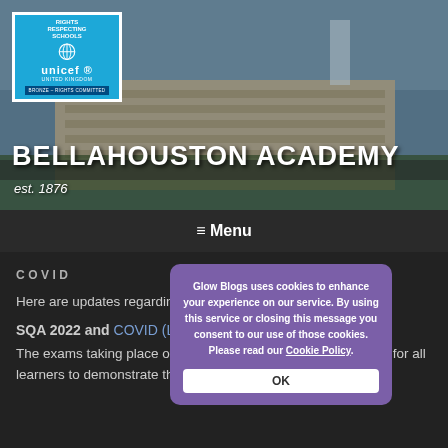[Figure (photo): Aerial/exterior view of Bellahouston Academy school building with UNICEF Rights Respecting Schools logo overlay]
BELLAHOUSTON ACADEMY
est. 1876
≡ Menu
COVID
Here are updates regarding Covid-19 and wider school:
SQA 2022 and COVID (Last April 2022)
The exams taking place over the next few weeks are a chance for all learners to demonstrate their hard work, skills and knowledge.
Glow Blogs uses cookies to enhance your experience on our service. By using this service or closing this message you consent to our use of those cookies. Please read our Cookie Policy.